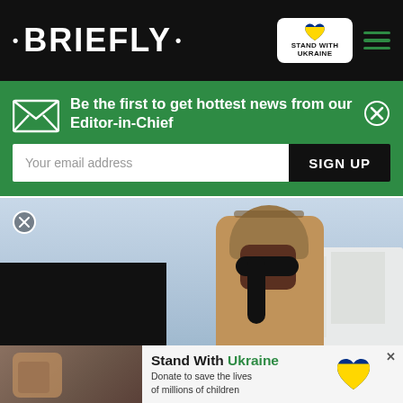• BRIEFLY •
Be the first to get hottest news from our Editor-in-Chief
Your email address  SIGN UP
[Figure (photo): Woman wearing sunglasses and a hat, standing outdoors with cars and buildings in the background]
[Figure (photo): Stand With Ukraine ad banner — Donate to save the lives of millions of children]